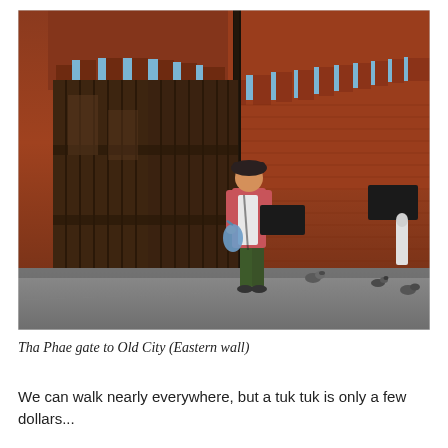[Figure (photo): A woman in a pink jacket and dark hat stands in front of a large ancient wooden gate set into a long red brick wall with battlements along the top. The wall extends to the right into the distance under a blue sky. Several pigeons are visible on the ground. This is Tha Phae gate, the eastern wall of the Old City of Chiang Mai, Thailand.]
Tha Phae gate to Old City (Eastern wall)
We can walk nearly everywhere, but a tuk tuk is only a few dollars...